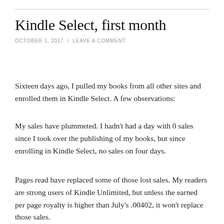Kindle Select, first month
OCTOBER 1, 2017  /  LEAVE A COMMENT
Sixteen days ago, I pulled my books from all other sites and enrolled them in Kindle Select. A few observations:
My sales have plummeted. I hadn't had a day with 0 sales since I took over the publishing of my books, but since enrolling in Kindle Select, no sales on four days.
Pages read have replaced some of those lost sales. My readers are strong users of Kindle Unlimited, but unless the earned per page royalty is higher than July's .00402, it won't replace those sales.